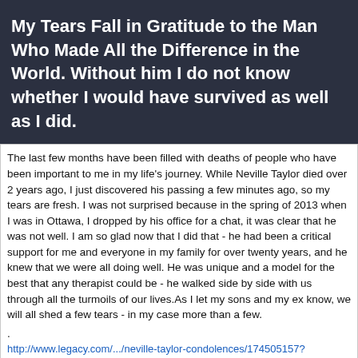My Tears Fall in Gratitude to the Man Who Made All the Difference in the World. Without him I do not know whether I would have survived as well as I did.
The last few months have been filled with deaths of people who have been important to me in my life's journey. While Neville Taylor died over 2 years ago, I just discovered his passing a few minutes ago, so my tears are fresh. I was not surprised because in the spring of 2013 when I was in Ottawa, I dropped by his office for a chat, it was clear that he was not well. I am so glad now that I did that - he had been a critical support for me and everyone in my family for over twenty years, and he knew that we were all doing well. He was unique and a model for the best that any therapist could be - he walked side by side with us through all the turmoils of our lives.As I let my sons and my ex know, we will all shed a few tears - in my case more than a few.
.
http://www.legacy.com/.../neville-taylor-condolences/174505157?